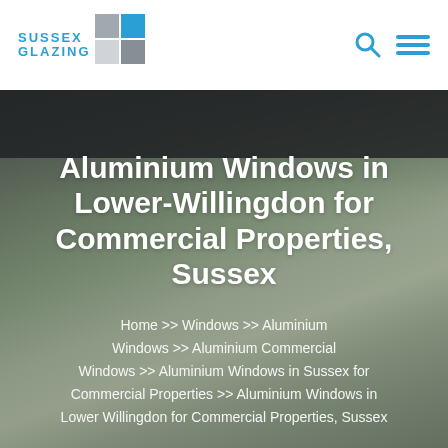[Figure (logo): Sussex Glazing logo with grey and blue squares grid and blue text]
[Figure (other): Search icon (magnifying glass) and hamburger menu icon in blue]
[Figure (photo): Background photo of aluminium windows with garden view, overlaid with dark tint]
Aluminium Windows in Lower-Willingdon for Commercial Properties, Sussex
Home >> Windows >> Aluminium Windows >> Aluminium Commercial Windows >> Aluminium Windows in Sussex for Commercial Properties >> Aluminium Windows in Lower Willingdon for Commercial Properties, Sussex